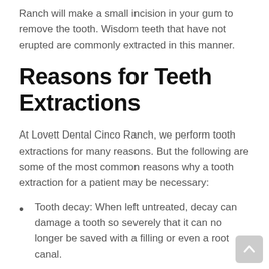Ranch will make a small incision in your gum to remove the tooth. Wisdom teeth that have not erupted are commonly extracted in this manner.
Reasons for Teeth Extractions
At Lovett Dental Cinco Ranch, we perform tooth extractions for many reasons. But the following are some of the most common reasons why a tooth extraction for a patient may be necessary:
Tooth decay: When left untreated, decay can damage a tooth so severely that it can no longer be saved with a filling or even a root canal.
Trauma: A blow to the mouth could damage a tooth or teeth beyond repair.